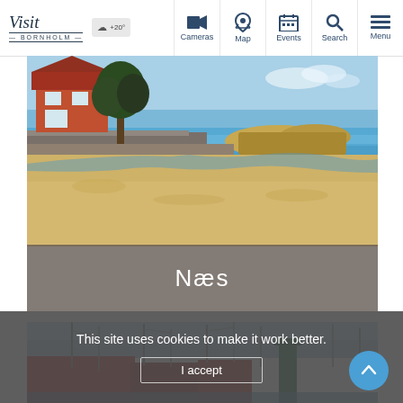Visit Bornholm — navigation bar with Cameras, Map, Events, Search, Menu
[Figure (photo): Beach scene with sandy shore, clear blue sea, rocky breakwater, large tree and red-roofed house in background, sunny day — Næs beach on Bornholm island]
Næs
[Figure (photo): Harbor scene with sailboat masts, red brick building, blue sky — Bornholm marina]
This site uses cookies to make it work better.
I accept